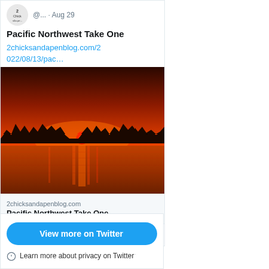@.. · Aug 29
Pacific Northwest Take One
2chicksandapenblog.com/2022/08/13/pac…
[Figure (photo): Sunset over water with silhouetted treeline. Deep orange and red sky with sun setting on the horizon reflected in calm water.]
2chicksandapenblog.com
Pacific Northwest Take One
View more on Twitter
Learn more about privacy on Twitter